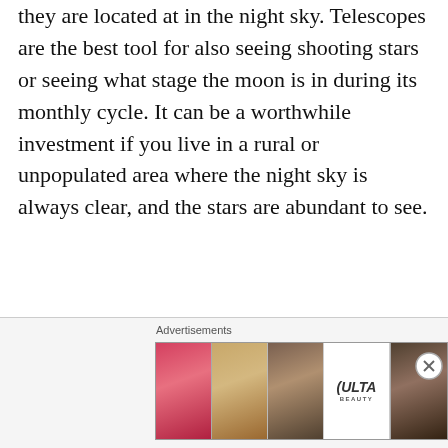they are located at in the night sky. Telescopes are the best tool for also seeing shooting stars or seeing what stage the moon is in during its monthly cycle. It can be a worthwhile investment if you live in a rural or unpopulated area where the night sky is always clear, and the stars are abundant to see.
Being able to appreciate the stars is a simple joy and one which is overlooked in a fast-paced world. However, I believe it is good for the soul and for our peace of mind. Looking at a full night sky has different meanings for different
[Figure (other): Advertisement banner for ULTA beauty showing cosmetic imagery (lips with lipstick, makeup brush, eye, ULTA logo, eye with dramatic makeup) with SHOP NOW call to action]